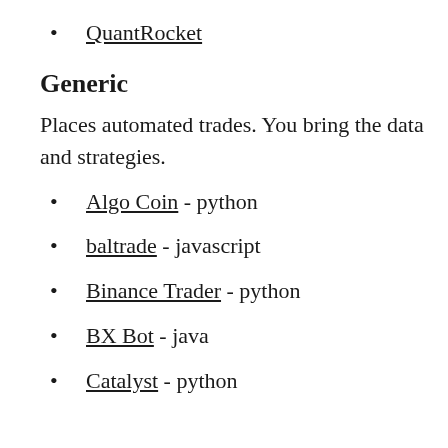QuantRocket
Generic
Places automated trades. You bring the data and strategies.
Algo Coin - python
baltrade - javascript
Binance Trader - python
BX Bot - java
Catalyst - python